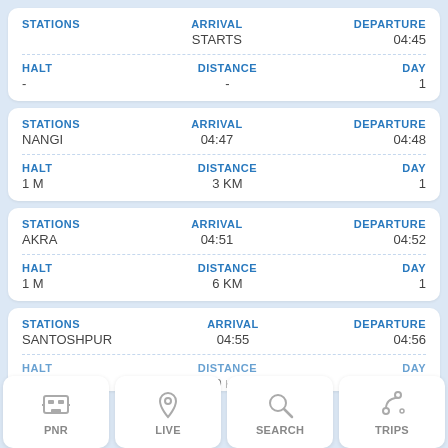| STATIONS | ARRIVAL | DEPARTURE | HALT | DISTANCE | DAY |
| --- | --- | --- | --- | --- | --- |
|  | STARTS | 04:45 | - | - | 1 |
| NANGI | 04:47 | 04:48 | 1 M | 3 KM | 1 |
| AKRA | 04:51 | 04:52 | 1 M | 6 KM | 1 |
| SANTOSHPUR | 04:55 | 04:56 | 1 M | 9 KM | 1 |